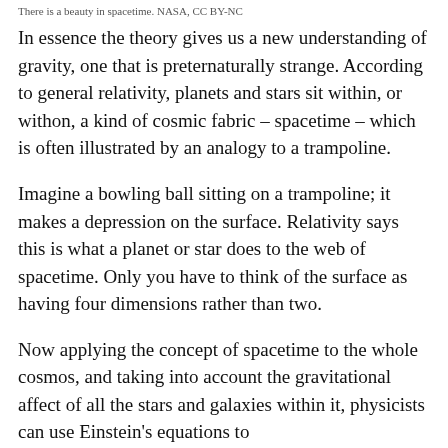There is a beauty in spacetime. NASA, CC BY-NC
In essence the theory gives us a new understanding of gravity, one that is preternaturally strange. According to general relativity, planets and stars sit within, or withon, a kind of cosmic fabric – spacetime – which is often illustrated by an analogy to a trampoline.
Imagine a bowling ball sitting on a trampoline; it makes a depression on the surface. Relativity says this is what a planet or star does to the web of spacetime. Only you have to think of the surface as having four dimensions rather than two.
Now applying the concept of spacetime to the whole cosmos, and taking into account the gravitational affect of all the stars and galaxies within it, physicists can use Einstein's equations to